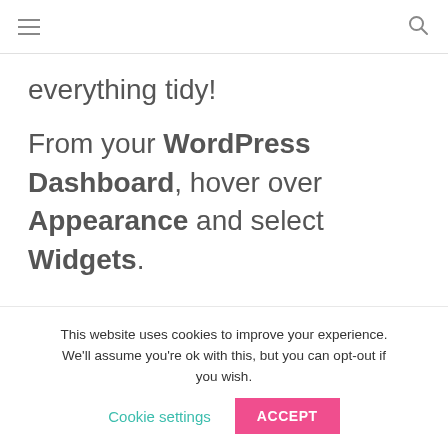≡  🔍
everything tidy!
From your WordPress Dashboard, hover over Appearance and select Widgets.
This website uses cookies to improve your experience. We'll assume you're ok with this, but you can opt-out if you wish. Cookie settings  ACCEPT